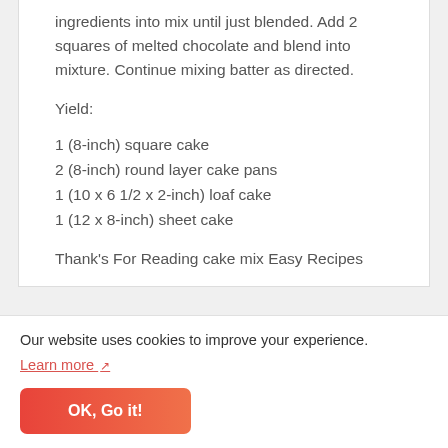ingredients into mix until just blended. Add 2 squares of melted chocolate and blend into mixture. Continue mixing batter as directed.
Yield:
1 (8-inch) square cake
2 (8-inch) round layer cake pans
1 (10 x 6 1/2 x 2-inch) loaf cake
1 (12 x 8-inch) sheet cake
Thank's For Reading cake mix Easy Recipes
Our website uses cookies to improve your experience. Learn more ↗
OK, Go it!